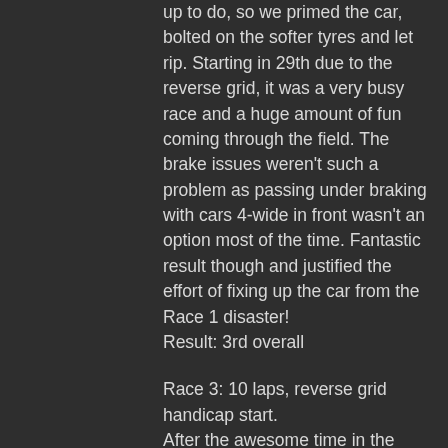up to do, so we primed the car, bolted on the softer tyres and let rip. Starting in 29th due to the reverse grid, it was a very busy race and a huge amount of fun coming through the field. The brake issues weren't such a problem as passing under braking with cars 4-wide in front wasn't an option most of the time. Fantastic result though and justified the effort of fixing up the car from the Race 1 disaster!
Result: 3rd overall
Race 3: 10 laps, reverse grid handicap start.
After the awesome time in the previous handicap race, I was really looking forward to the longer 10 lap last race of the day. I'd been bumped even further back in the starting grid so it was all to do